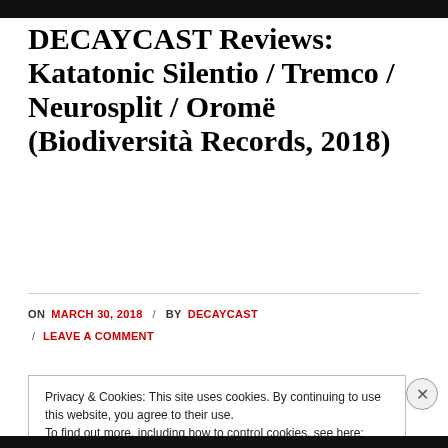DECAYCAST Reviews: Katatonic Silentio / Tremco / Neurosplit / Oromë (Biodiversità Records, 2018)
ON MARCH 30, 2018 / BY DECAYCAST / LEAVE A COMMENT
Privacy & Cookies: This site uses cookies. By continuing to use this website, you agree to their use.
To find out more, including how to control cookies, see here: Cookie Policy
Close and accept